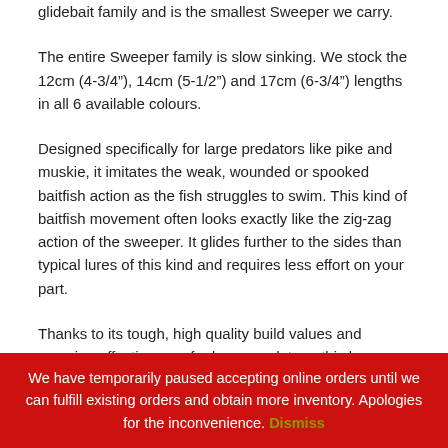glidebait family and is the smallest Sweeper we carry.
The entire Sweeper family is slow sinking. We stock the 12cm (4-3/4”), 14cm (5-1/2”) and 17cm (6-3/4”) lengths in all 6 available colours.
Designed specifically for large predators like pike and muskie, it imitates the weak, wounded or spooked baitfish action as the fish struggles to swim. This kind of baitfish movement often looks exactly like the zig-zag action of the sweeper. It glides further to the sides than typical lures of this kind and requires less effort on your part.
Thanks to its tough, high quality build values and amazing effectiveness for large predators, this lure gains more and more...
We have temporarily paused accepting online orders until we can fulfill existing orders and obtain more inventory. Apologies for the inconvenience. Dismiss